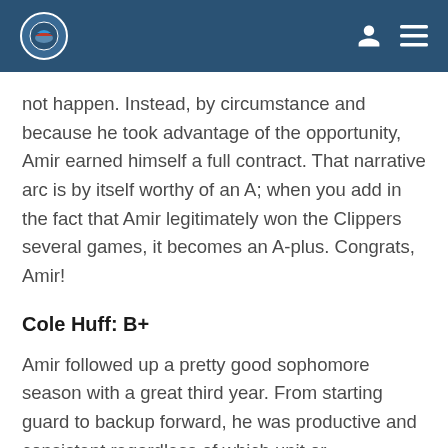not happen. Instead, by circumstance and because he took advantage of the opportunity, Amir earned himself a full contract. That narrative arc is by itself worthy of an A; when you add in the fact that Amir legitimately won the Clippers several games, it becomes an A-plus. Congrats, Amir!
Cole Huff: B+
Amir followed up a pretty good sophomore season with a great third year. From starting guard to backup forward, he was productive and consistent regardless of which unit or